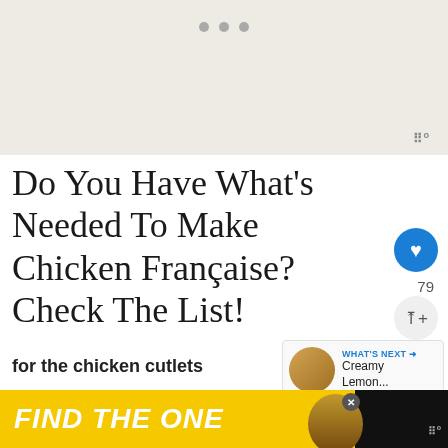[Figure (screenshot): Top image area with carousel dots and watermark logo area, light beige background]
Do You Have What's Needed To Make Chicken Française? Check The List!
for the chicken cutlets
boneless, skinless chicken breasts
[Figure (infographic): WHAT'S NEXT box with circular thumbnail and text: Creamy Lemon...]
[Figure (infographic): Ad banner: FIND THE ONE with dog image, yellow and black background]